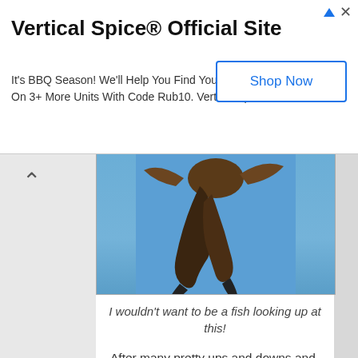Vertical Spice® Official Site
It's BBQ Season! We'll Help You Find Your Rub. Save 10% On 3+ More Units With Code Rub10. Vertical Spice
Shop Now
[Figure (photo): Close-up of an eagle's talon/claw viewed from below against a blue sky]
I wouldn't want to be a fish looking up at this!
After many pretty ups and downs and scenic twists and turns, US-93 delivered us into Salmon, Idaho. We took a walk along the Salmon River and were startled by the beauty of the bridge that spans the river in town as it stood against a backdrop of snowcapped mountains.
[Figure (photo): Snowcapped mountain range with green trees in the foreground against a blue sky]